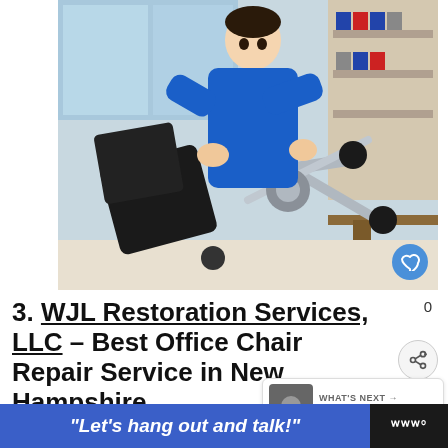[Figure (photo): A technician in a blue uniform repairing or assembling an office chair, showing chrome base and armrests, in an office setting with shelves and natural light.]
3. WJL Restoration Services, LLC – Best Office Chair Repair Service in New Hampshire
Do you need a reupholstery job?
"Let's hang out and talk!"